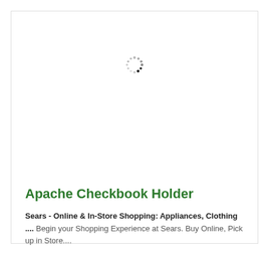[Figure (other): Loading spinner icon — circular dotted spinner graphic]
Apache Checkbook Holder
Sears - Online & In-Store Shopping: Appliances, Clothing .... Begin your Shopping Experience at Sears. Buy Online, Pick up in Store....